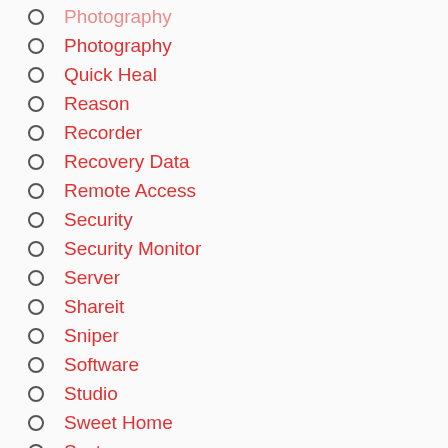Photography
Quick Heal
Reason
Recorder
Recovery Data
Remote Access
Security
Security Monitor
Server
Shareit
Sniper
Software
Studio
Sweet Home
System